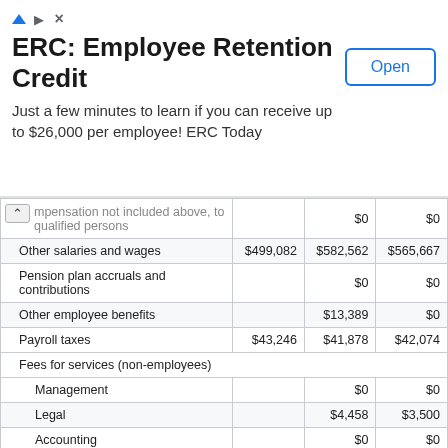[Figure (other): Advertisement banner: ERC Employee Retention Credit. 'Just a few minutes to learn if you can receive up to $26,000 per employee! ERC Today' with an Open button.]
|  |  |  |  |
| --- | --- | --- | --- |
| mpensation not included above, to qualified persons |  | $0 | $0 |
| Other salaries and wages | $499,082 | $582,562 | $565,667 |
| Pension plan accruals and contributions |  | $0 | $0 |
| Other employee benefits |  | $13,389 | $0 |
| Payroll taxes | $43,246 | $41,878 | $42,074 |
| Fees for services (non-employees) |  |  |  |
| Management |  | $0 | $0 |
| Legal |  | $4,458 | $3,500 |
| Accounting |  | $0 | $0 |
| Lobbying |  | $0 | $0 |
| Professional fundraising services | $0 | $0 | $0 |
| Investment management fees |  | $0 | $0 |
| Other |  | $0 | $0 |
| Advertising and promotion |  | $0 | $0 |